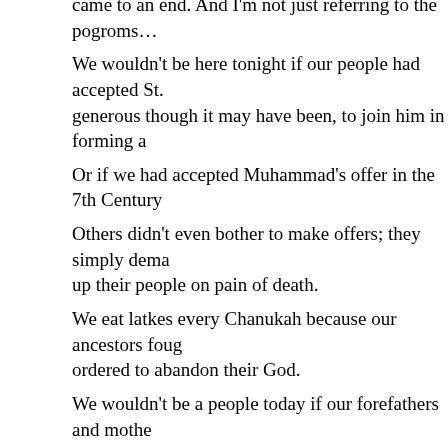came to an end. And I'm not just referring to the pogroms…
We wouldn't be here tonight if our people had accepted St. generous though it may have been, to join him in forming a
Or if we had accepted Muhammad's offer in the 7th Century
Others didn't even bother to make offers; they simply dema up their people on pain of death.
We eat latkes every Chanukah because our ancestors foug ordered to abandon their God.
We wouldn't be a people today if our forefathers and mothe Judaism during the Spanish Inquisition.
I personally got to witness the strength of that Jewish bond and I went on a mission to Belarus.
I'm not ashamed to say I cried when I saw how 70 years of extinguish the Jewish spirit.
We see that spirit in the streets of Israel and Winnipeg toda Union living Jewish lives because of the work we do.
We saw that same spirit in the survivors who came to North Second World War.
They would have been forgiven if they had turned their bac